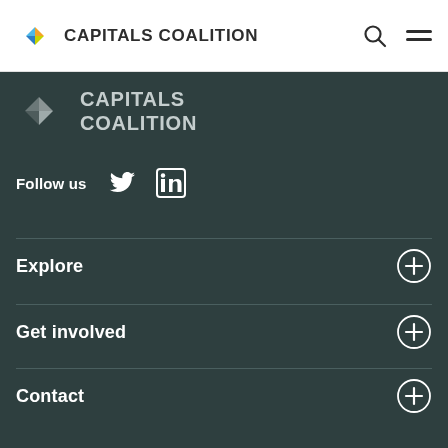CAPITALS COALITION
[Figure (logo): Capitals Coalition logo: colorful diamond shapes with text CAPITALS COALITION]
[Figure (logo): Capitals Coalition greyscale footer logo with text CAPITALS COALITION]
Follow us
[Figure (illustration): Twitter and LinkedIn social media icons]
Explore
Get involved
Contact